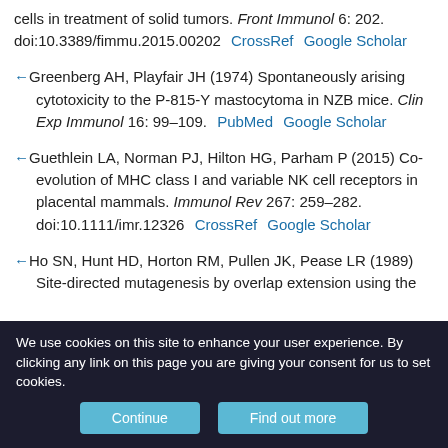cells in treatment of solid tumors. Front Immunol 6: 202. doi:10.3389/fimmu.2015.00202  CrossRef  Google Scholar
Greenberg AH, Playfair JH (1974) Spontaneously arising cytotoxicity to the P-815-Y mastocytoma in NZB mice. Clin Exp Immunol 16: 99–109.  PubMed  Google Scholar
Guethlein LA, Norman PJ, Hilton HG, Parham P (2015) Co-evolution of MHC class I and variable NK cell receptors in placental mammals. Immunol Rev 267: 259–282. doi:10.1111/imr.12326  CrossRef  Google Scholar
Ho SN, Hunt HD, Horton RM, Pullen JK, Pease LR (1989) Site-directed mutagenesis by overlap extension using the
We use cookies on this site to enhance your user experience. By clicking any link on this page you are giving your consent for us to set cookies.